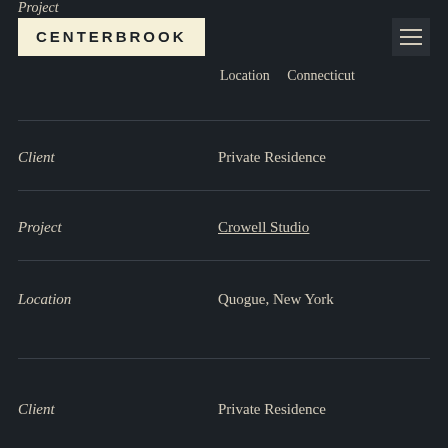[Figure (logo): Centerbrook logo — cream/beige rectangular box with bold uppercase text 'CENTERBROOK' in dark color]
Project
Location	Connecticut
Client	Private Residence
Project	Crowell Studio
Location	Quogue, New York
Client	Private Residence